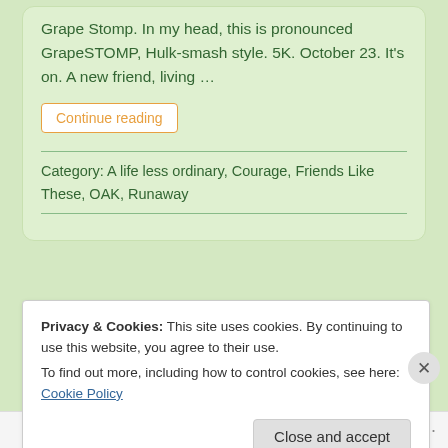Grape Stomp. In my head, this is pronounced GrapeSTOMP, Hulk-smash style. 5K. October 23. It's on. A new friend, living …
Continue reading
Category: A life less ordinary, Courage, Friends Like These, OAK, Runaway
Privacy & Cookies: This site uses cookies. By continuing to use this website, you agree to their use.
To find out more, including how to control cookies, see here: Cookie Policy
Close and accept
Follow